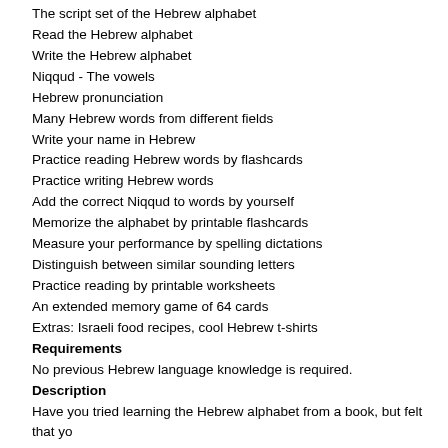The script set of the Hebrew alphabet
Read the Hebrew alphabet
Write the Hebrew alphabet
Niqqud - The vowels
Hebrew pronunciation
Many Hebrew words from different fields
Write your name in Hebrew
Practice reading Hebrew words by flashcards
Practice writing Hebrew words
Add the correct Niqqud to words by yourself
Memorize the alphabet by printable flashcards
Measure your performance by spelling dictations
Distinguish between similar sounding letters
Practice reading by printable worksheets
An extended memory game of 64 cards
Extras: Israeli food recipes, cool Hebrew t-shirts
Requirements
No previous Hebrew language knowledge is required.
Description
Have you tried learning the Hebrew alphabet from a book, but felt that yo to pronounce the words? Are you looking for a course that will make the l to learn the Hebrew alphabet step by step, with plenty of printable worksh If your answer is YES, then you have come to the right place. This course was made for complete beginners, with zero experience in th some important facts about the Hebrew alphabet, just like how many sets and writing direction. Then, we will continue by learning the Print set of th Each word you will learn will contain only letters you already learned. Nex mastering the Niqqud - a set of signs that function as vowels. Once you k you will get to practice reading words from different fields. After every rea spelling dictation of the words from the reading practice. Once you're don